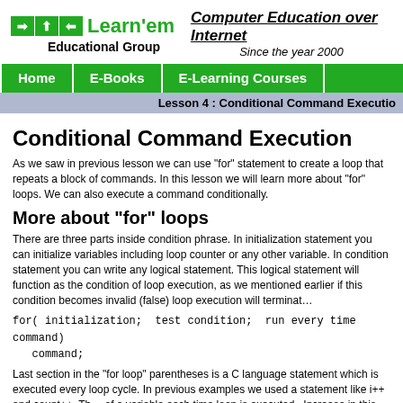Learn'em Educational Group — Computer Education over Internet, Since the year 2000
Home | E-Books | E-Learning Courses
Lesson 4 : Conditional Command Execution
Conditional Command Execution
As we saw in previous lesson we can use "for" statement to create a loop that repeats a block of commands. In this lesson we will learn more about "for" loops. We can also execute a command conditionally.
More about "for" loops
There are three parts inside condition phrase. In initialization statement you can initialize variables including loop counter or any other variable. In condition statement you can write any logical statement. This logical statement will function as the condition of loop execution, as we mentioned earlier if this condition becomes invalid (false) loop execution will terminate.
Last section in the "for loop" parentheses is a C language statement which is executed every loop cycle. In previous examples we used a statement like i++ and count++. This statement increases the value of a variable each time loop is executed. Increase in this variable can change the logical value to invalid (false), if the loop condition is also based on this variable. We are going to print a multiplication chart (from 1*1 to 9*9). Run the program and see the result.